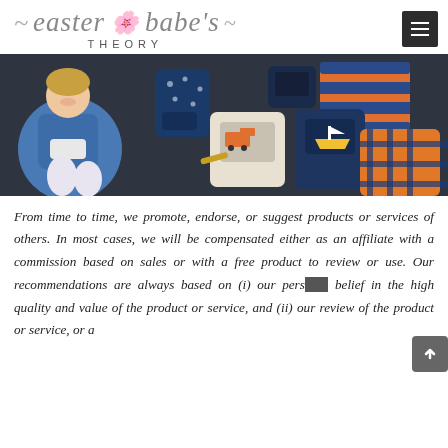easter babe's THEORY
[Figure (photo): A smiling child sitting on a dark floor surrounded by multiple colorful backpacks and school bags with various patterns including stripes, plaid, and illustrated designs.]
From time to time, we promote, endorse, or suggest products or services of others. In most cases, we will be compensated either as an affiliate with a commission based on sales or with a free product to review or use. Our recommendations are always based on (i) our personal belief in the high quality and value of the product or service, and (ii) our review of the product or service, or a